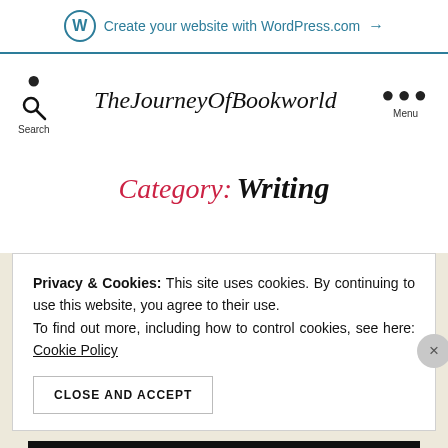Create your website with WordPress.com →
TheJourneyOfBookworld
Category: Writing
Privacy & Cookies: This site uses cookies. By continuing to use this website, you agree to their use. To find out more, including how to control cookies, see here: Cookie Policy
CLOSE AND ACCEPT